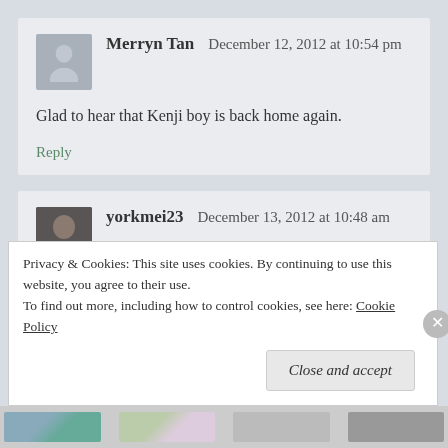Merryn Tan — December 12, 2012 at 10:54 pm
Glad to hear that Kenji boy is back home again.
Reply
yorkmei23 — December 13, 2012 at 10:48 am
Privacy & Cookies: This site uses cookies. By continuing to use this website, you agree to their use. To find out more, including how to control cookies, see here: Cookie Policy
Close and accept